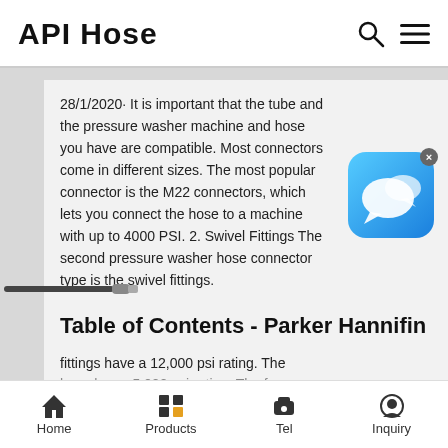API Hose
28/1/2020· It is important that the tube and the pressure washer machine and hose you have are compatible. Most connectors come in different sizes. The most popular connector is the M22 connectors, which lets you connect the hose to a machine with up to 4000 PSI. 2. Swivel Fittings The second pressure washer hose connector type is the swivel fittings.
[Figure (illustration): Blue chat/messaging app icon with speech bubbles and an X close button]
[Figure (photo): Small image of a hose connector/fitting]
Table of Contents - Parker Hannifin
fittings have a 12,000 psi rating. The hose has a 5,000 psi rating. The f…
Home  Products  Tel  Inquiry